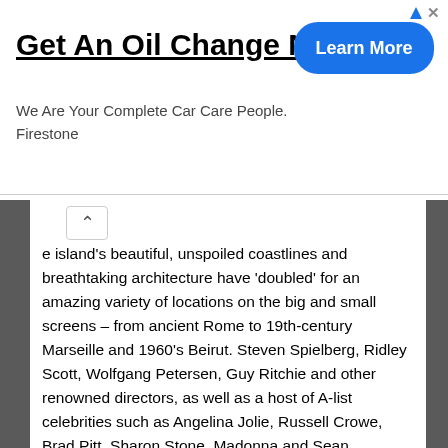[Figure (screenshot): Advertisement banner for Firestone oil change service. Title: 'Get An Oil Change Near You', subtitle: 'We Are Your Complete Car Care People. Firestone', with a blue 'Learn More' button.]
e island's beautiful, unspoiled coastlines and breathtaking architecture have 'doubled' for an amazing variety of locations on the big and small screens – from ancient Rome to 19th-century Marseille and 1960's Beirut. Steven Spielberg, Ridley Scott, Wolfgang Petersen, Guy Ritchie and other renowned directors, as well as a host of A-list celebrities such as Angelina Jolie, Russell Crowe, Brad Pitt, Sharon Stone, Madonna and Sean Connery, all experienced Malta's movie making facilities and its many charms.
The
sunny
islands
of
Malta,